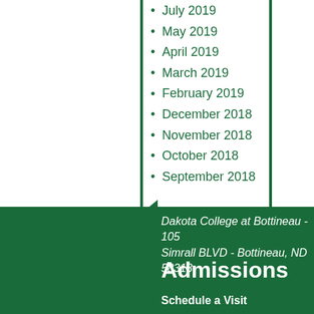July 2019
May 2019
April 2019
March 2019
February 2019
December 2018
November 2018
October 2018
September 2018
Dakota College at Bottineau - 105 Simrall BLVD - Bottineau, ND 58318
Admissions
Schedule a Visit